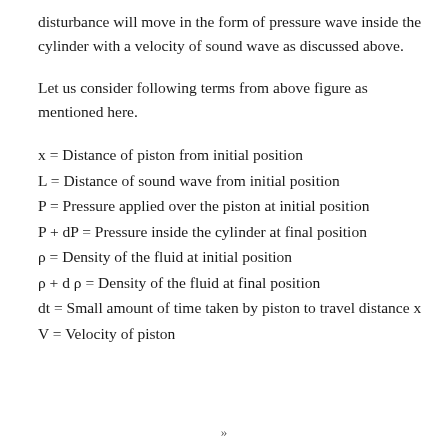disturbance will move in the form of pressure wave inside the cylinder with a velocity of sound wave as discussed above.
Let us consider following terms from above figure as mentioned here.
x = Distance of piston from initial position
L = Distance of sound wave from initial position
P = Pressure applied over the piston at initial position
P + dP = Pressure inside the cylinder at final position
ρ = Density of the fluid at initial position
ρ + d ρ = Density of the fluid at final position
dt = Small amount of time taken by piston to travel distance x
V = Velocity of piston
»